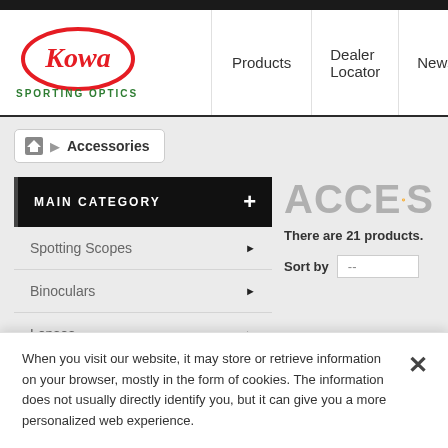[Figure (logo): Kowa Sporting Optics logo — red oval with Kowa script text, and 'SPORTING OPTICS' in green below]
Products  Dealer Locator  News  Vi...
Accessories
MAIN CATEGORY
Spotting Scopes
Binoculars
Lenses
ACCES (with accessibility icon)
There are 21 products.
Sort by  --
When you visit our website, it may store or retrieve information on your browser, mostly in the form of cookies. The information does not usually directly identify you, but it can give you a more personalized web experience.